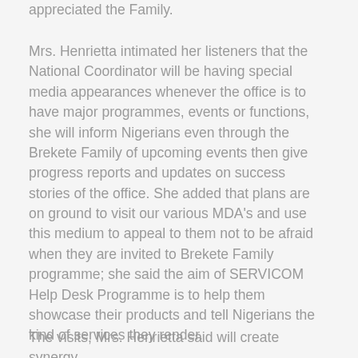appreciated the Family.
Mrs. Henrietta intimated her listeners that the National Coordinator will be having special media appearances whenever the office is to have major programmes, events or functions, she will inform Nigerians even through the Brekete Family of upcoming events then give progress reports and updates on success stories of the office. She added that plans are on ground to visit our various MDA's and use this medium to appeal to them not to be afraid when they are invited to Brekete Family programme; she said the aim of SERVICOM Help Desk Programme is to help them showcase their products and tell Nigerians the kind of services they render.
The visits, Mrs. Henrietta said will create synergy between SERVICOM and MDA's and...